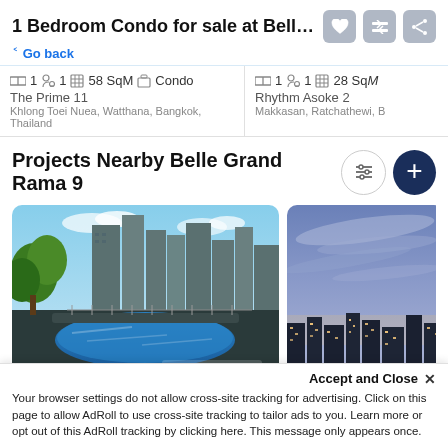1 Bedroom Condo for sale at Belle Gran...
< Go back
1  1  58 SqM  Condo  The Prime 11  Khlong Toei Nuea, Watthana, Bangkok, Thailand
1  1  28 SqM  Rhythm Asoke 2  Makkasan, Ratchathewi, B
Projects Nearby Belle Grand Rama 9
[Figure (photo): Rooftop infinity pool with city skyline in background, trees visible, FazWaz watermark]
[Figure (photo): Nighttime city skyline with purple-blue sky and streaking clouds]
Accept and Close ✕
Your browser settings do not allow cross-site tracking for advertising. Click on this page to allow AdRoll to use cross-site tracking to tailor ads to you. Learn more or opt out of this AdRoll tracking by clicking here. This message only appears once.